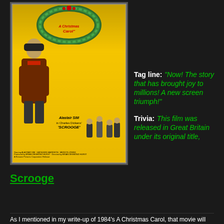[Figure (photo): Movie poster for A Christmas Carol featuring Alastair Sim as Scrooge on a yellow background]
Scrooge
Tag line: "Now! The story that has brought joy to millions! A new screen triumph!"
Trivia: This film was released in Great Britain under its original title,
As I mentioned in my write-up of 1984's A Christmas Carol, that movie will